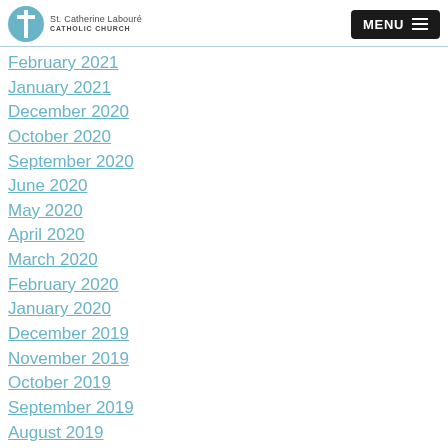St. Catherine Labouré CATHOLIC CHURCH | MENU
February 2021
January 2021
December 2020
October 2020
September 2020
June 2020
May 2020
April 2020
March 2020
February 2020
January 2020
December 2019
November 2019
October 2019
September 2019
August 2019
July 2019